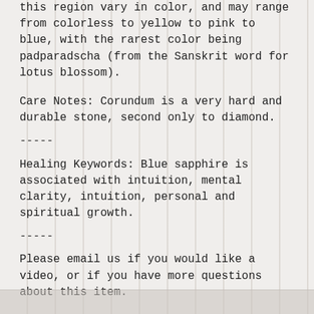this region vary in color, and may range from colorless to yellow to pink to blue, with the rarest color being padparadscha (from the Sanskrit word for lotus blossom).
Care Notes: Corundum is a very hard and durable stone, second only to diamond.
-----
Healing Keywords: Blue sapphire is associated with intuition, mental clarity, intuition, personal and spiritual growth.
-----
Please email us if you would like a video, or if you have more questions about this item.
You may also like